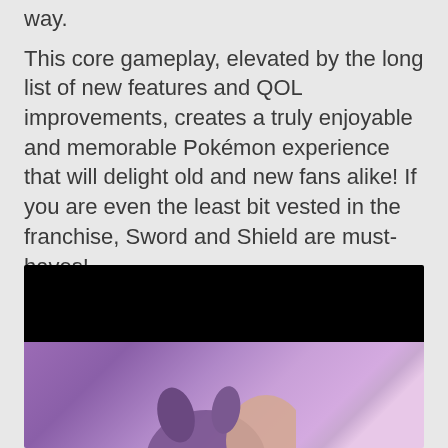way.
This core gameplay, elevated by the long list of new features and QOL improvements, creates a truly enjoyable and memorable Pokémon experience that will delight old and new fans alike! If you are even the least bit vested in the franchise, Sword and Shield are must-haves!
Learn more about Pokémon Sword and Shield here.
Trailer
[Figure (screenshot): Video thumbnail showing a Pokémon trailer — black letterbox bar at top, purple background below with a Pokémon character partially visible]